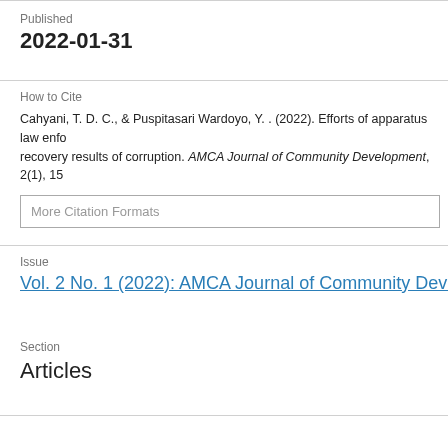Published
2022-01-31
How to Cite
Cahyani, T. D. C., & Puspitasari Wardoyo, Y. . (2022). Efforts of apparatus law enfo... recovery results of corruption. AMCA Journal of Community Development, 2(1), 15…
More Citation Formats
Issue
Vol. 2 No. 1 (2022): AMCA Journal of Community Development
Section
Articles